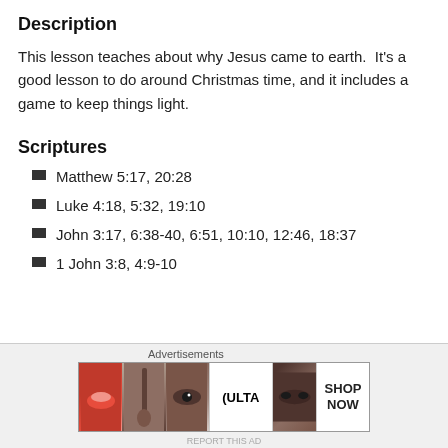Description
This lesson teaches about why Jesus came to earth.  It's a good lesson to do around Christmas time, and it includes a game to keep things light.
Scriptures
Matthew 5:17, 20:28
Luke 4:18, 5:32, 19:10
John 3:17, 6:38-40, 6:51, 10:10, 12:46, 18:37
1 John 3:8, 4:9-10
[Figure (advertisement): Ulta beauty advertisement banner with makeup images and SHOP NOW text]